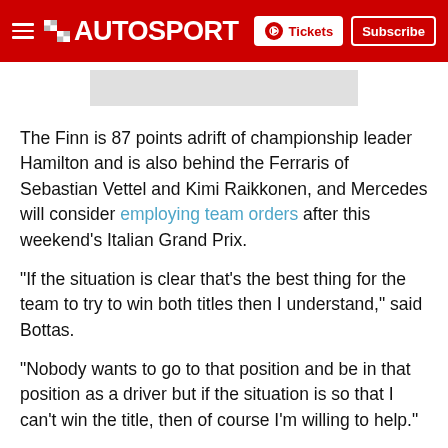AUTOSPORT — Tickets | Subscribe
[Figure (photo): Partial image placeholder (gray rectangle), partially cropped at top]
The Finn is 87 points adrift of championship leader Hamilton and is also behind the Ferraris of Sebastian Vettel and Kimi Raikkonen, and Mercedes will consider employing team orders after this weekend's Italian Grand Prix.
"If the situation is clear that's the best thing for the team to try to win both titles then I understand," said Bottas.
"Nobody wants to go to that position and be in that position as a driver but if the situation is so that I can't win the title, then of course I'm willing to help."
Mercedes has employed a policy of letting its drivers race for years, which famously led to Hamilton and